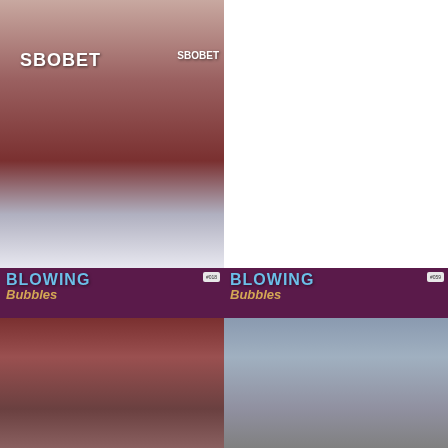[Figure (photo): Magazine cover for September 2018 #84 showing 'SIR TREV' text on maroon background]
September 2018 #84
£2.98
Read more
[Figure (photo): Photo of two West Ham players in SBOBET maroon jerseys]
Blowing Bubbles #05
£2.98
Read more
[Figure (photo): Blowing Bubbles magazine cover with fans celebrating]
[Figure (photo): Blowing Bubbles magazine cover with player and crowd]